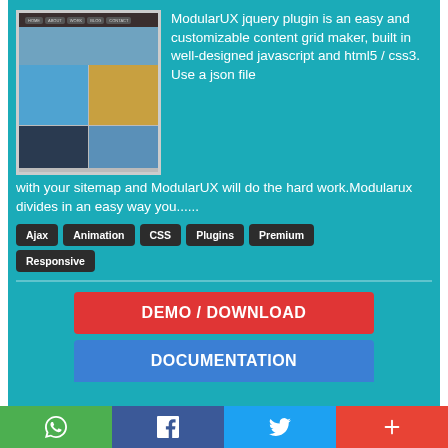[Figure (screenshot): Screenshot of ModularUX grid layout showing a website with navigation bar, hero image, and photo grid]
ModularUX jquery plugin is an easy and customizable content grid maker, built in well-designed javascript and html5 / css3. Use a json file with your sitemap and ModularUX will do the hard work.Modularux divides in an easy way you......
Ajax
Animation
CSS
Plugins
Premium
Responsive
DEMO / DOWNLOAD
DOCUMENTATION